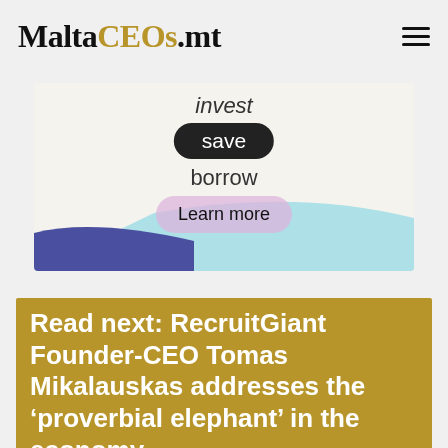MaltaCEOs.mt
[Figure (illustration): Advertisement banner showing the words 'invest', 'save' (in a dark pill/button), 'borrow', with wave shapes in blue and light blue at the bottom, and a 'Learn more' button in a pink/lavender pill shape.]
Read next: RecruitGiant Founder-CEO Tomas Mikalauskas addresses the ‘proverbial elephant’ in the economy